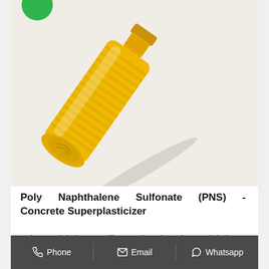[Figure (photo): A yellow/amber colored plastic bottle (containing Poly Naphthalene Sulfonate liquid concrete superplasticizer) lying diagonally on a white background. A green circular badge/logo is partially visible in the top-left corner.]
Poly Naphthalene Sulfonate (PNS) - Concrete Superplasticizer
Poly Naphthalene Sulfonate (PNS) Poly Naphthalene
Phone  Email  Whatsapp